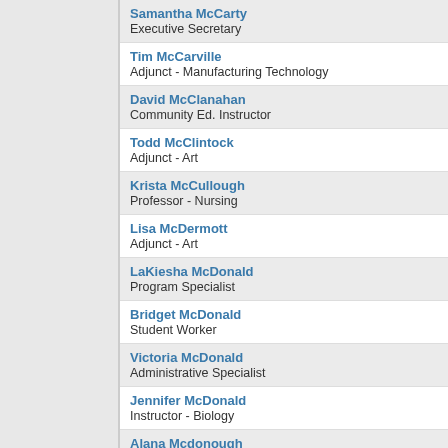Samantha McCarty
Executive Secretary
Tim McCarville
Adjunct - Manufacturing Technology
David McClanahan
Community Ed. Instructor
Todd McClintock
Adjunct - Art
Krista McCullough
Professor - Nursing
Lisa McDermott
Adjunct - Art
LaKiesha McDonald
Program Specialist
Bridget McDonald
Student Worker
Victoria McDonald
Administrative Specialist
Jennifer McDonald
Instructor - Biology
Alana Mcdonough
Adjunct - Child Development